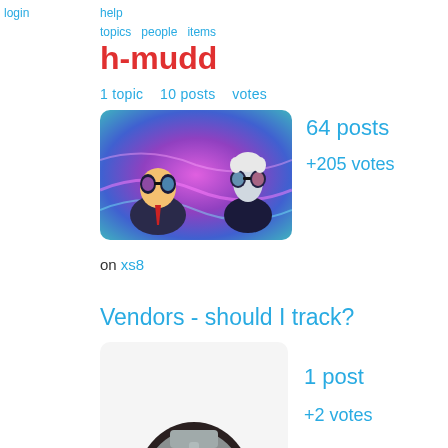login
help  topics  people  items
h-mudd
1 topic   10 posts   votes
[Figure (photo): Animated scene showing two characters in suits and sunglasses, colorful psychedelic background (Rick and Morty style)]
64 posts
+205 votes
on xs8
Vendors - should I track?
[Figure (photo): Person wearing a metallic Gladiator-style mask (MF DOOM mask), wearing a red shirt, white background]
1 post
+2 votes